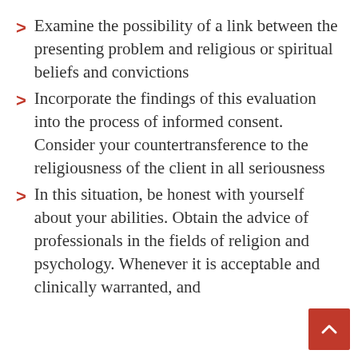Examine the possibility of a link between the presenting problem and religious or spiritual beliefs and convictions
Incorporate the findings of this evaluation into the process of informed consent. Consider your countertransference to the religiousness of the client in all seriousness
In this situation, be honest with yourself about your abilities. Obtain the advice of professionals in the fields of religion and psychology. Whenever it is acceptable and clinically warranted, and